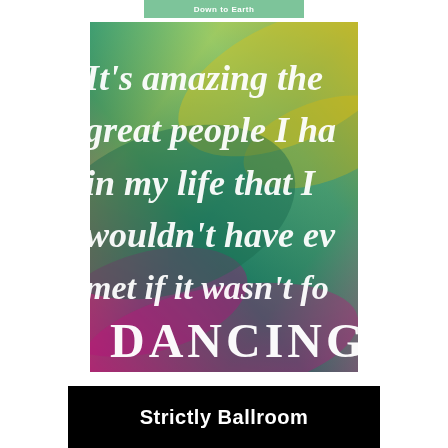[Figure (illustration): Colorful tie-dye background image with rainbow gradient from teal/green at top to yellow, then teal/dark green in middle, to magenta/pink at bottom. White calligraphic text reads: It's amazing the great people I ha[ve] in my life that [I] wouldn't have ev[er] met if it wasn't fo[r] DANCING]
Strictly Ballroom